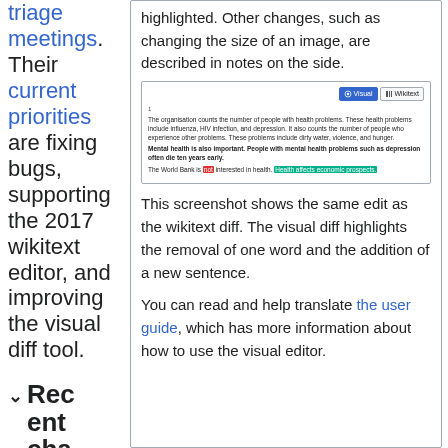triage meetings. Their current priorities are fixing bugs, supporting the 2017 wikitext editor, and improving the visual diff tool.
highlighted. Other changes, such as changing the size of an image, are described in notes on the side.
[Figure (screenshot): Screenshot of Wikipedia visual editor showing Visual and Wikitext tabs, with text about mental health. One word is highlighted red (deleted) and a sentence is highlighted green (added).]
This screenshot shows the same edit as the wikitext diff. The visual diff highlights the removal of one word and the addition of a new sentence.
You can read and help translate the user guide, which has more information about how to use the visual editor.
Recent change